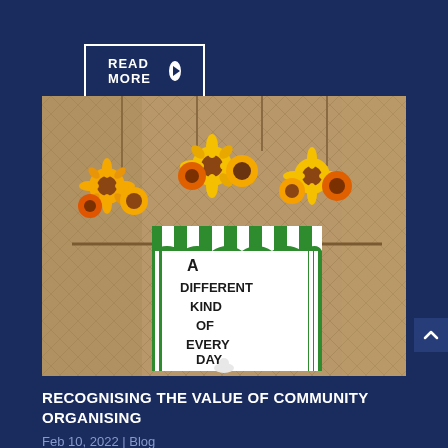READ MORE ▶
[Figure (photo): A sign hanging against a wire mesh background with dried sunflowers, reading 'A DIFFERENT KIND OF EVERY DAY' in a green striped tent/circus style frame]
RECOGNISING THE VALUE OF COMMUNITY ORGANISING
Feb 10, 2022 | Blog